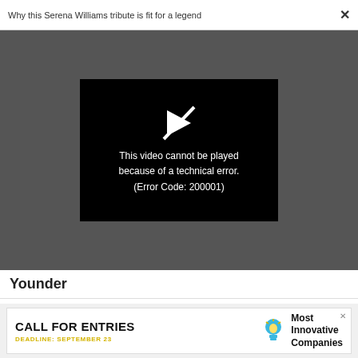Why this Serena Williams tribute is fit for a legend ×
[Figure (screenshot): Video player error screen on dark grey background. A black video error box with a white play/slash icon and text: 'This video cannot be played because of a technical error. (Error Code: 200001)']
Younder
WORK LIFE
What science has to say about your birth order and your career choice
[Figure (infographic): Advertisement banner: CALL FOR ENTRIES, DEADLINE: SEPTEMBER 23, Most Innovative Companies, with light bulb icon]